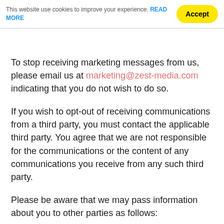This website use cookies to improve your experience. READ MORE [Accept]
To stop receiving marketing messages from us, please email us at marketing@zest-media.com indicating that you do not wish to do so.
If you wish to opt-out of receiving communications from a third party, you must contact the applicable third party. You agree that we are not responsible for the communications or the content of any communications you receive from any such third party.
Please be aware that we may pass information about you to other parties as follows:
to third parties authorised by us and acting on our behalf such as our employees, contractors, suppliers and/or